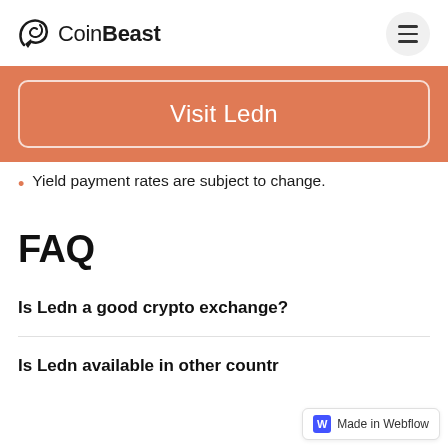CoinBeast
[Figure (other): Orange banner with Visit Ledn button]
Yield payment rates are subject to change.
FAQ
Is Ledn a good crypto exchange?
Is Ledn available in other countries?